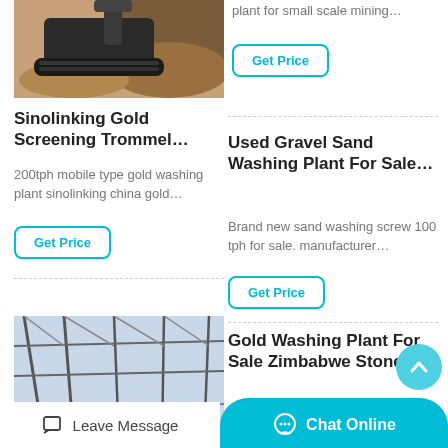[Figure (photo): Mining machinery crawler/tracked mobile crusher on sandy/rocky ground]
plant for small scale mining…
Get Price
Sinolinking Gold Screening Trommel…
200tph mobile type gold washing plant sinolinking china gold…
Get Price
Used Gravel Sand Washing Plant For Sale…
Brand new sand washing screw 100 tph for sale. manufacturer…
Get Price
[Figure (photo): Industrial construction site with steel framework structure and workers]
Gold Washing Plant For Sale Zimbabwe Stone…
Leave Message
Chat Online